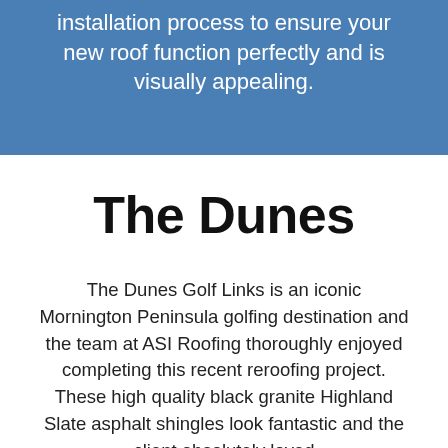installation process to ensure your new roof function perfectly and is visually appealing.
The Dunes
The Dunes Golf Links is an iconic Mornington Peninsula golfing destination and the team at ASI Roofing thoroughly enjoyed completing this recent reroofing project. These high quality black granite Highland Slate asphalt shingles look fantastic and the client absolutely loved